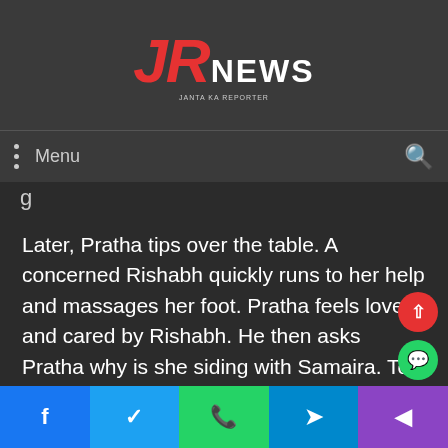JR NEWS
Menu
Later, Pratha tips over the table. A concerned Rishabh quickly runs to her help and massages her foot. Pratha feels loved and cared by Rishabh. He then asks Pratha why is she siding with Samaira. To which, Pratha replies that she is siding with the truth even if she has to go against her own family members.
As Rishabh falls asleep, Pratha sneaks away from home and reaches the venue where Rehan has thrown a private party his friend...